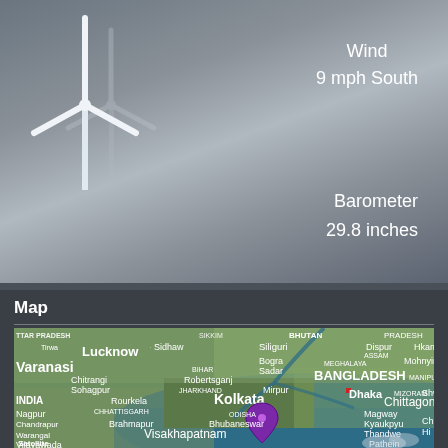[Figure (illustration): Wind turbine silhouette on dark grey blurred background]
Wind
9 mph South
Barometer
29.8 inches
Map
[Figure (map): Satellite map showing eastern India, Bangladesh, and surrounding regions with a purple location pin near Kolkata. Cities visible include Lucknow, Varanasi, Kolkata, Dhaka, Chittagong, Bhubaneswar, Visakhapatnam, Nagpur, Siliguri, Bogra Sadar, and others.]